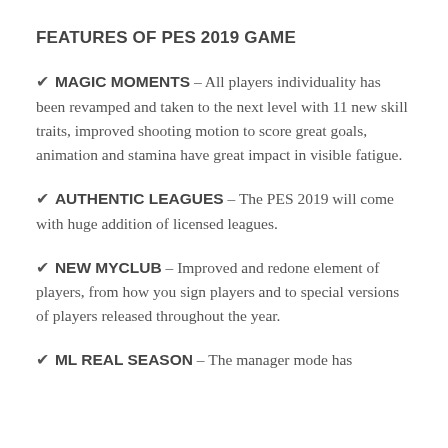FEATURES OF PES 2019 GAME
✔ MAGIC MOMENTS – All players individuality has been revamped and taken to the next level with 11 new skill traits, improved shooting motion to score great goals, animation and stamina have great impact in visible fatigue.
✔ AUTHENTIC LEAGUES – The PES 2019 will come with huge addition of licensed leagues.
✔ NEW MYCLUB – Improved and redone element of players, from how you sign players and to special versions of players released throughout the year.
✔ ML REAL SEASON – The manager mode has